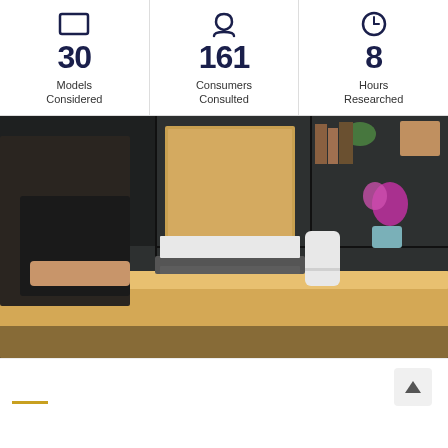[Figure (infographic): Three statistics displayed in a row with icons: 30 Models Considered, 161 Consumers Consulted, 8 Hours Researched]
[Figure (photo): Person sitting at a wooden desk working on a laptop next to a smart speaker (cylindrical white device), with a bookshelf in the background containing plants, books, and decorative items]
[Figure (other): Bottom bar with a gold horizontal line accent and a scroll-to-top arrow button]